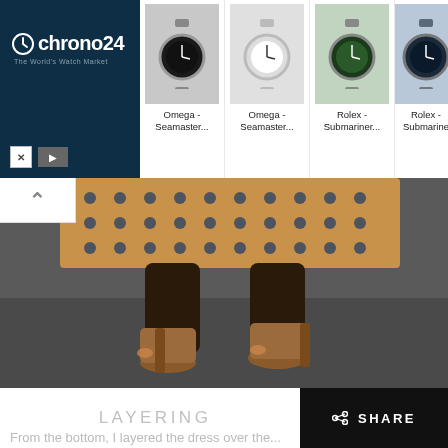[Figure (logo): Chrono24 logo - The World's Watch Market on dark navy background]
[Figure (screenshot): Ad banner showing four watches: Omega Seamaster, Omega Seamaster, Rolex Submariner, Rolex Submariner with product names below each image]
[Figure (photo): Fashion photo showing woman's legs wearing brown suede platform heels, dark leggings, holding a tan perforated handbag with blue dot pattern]
LAYERING
SHARE
From the bottom, I layered the dress over the...